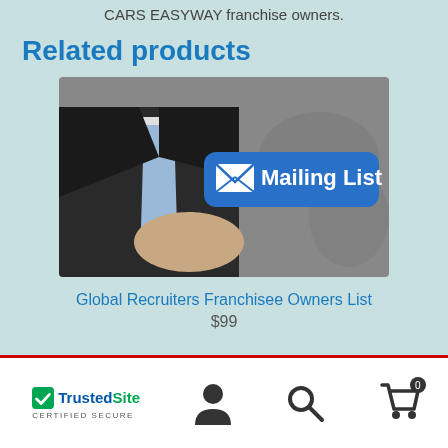CARS EASYWAY franchise owners.
Related products
[Figure (photo): A businessman in a dark suit pointing at a blue button labeled 'Mailing List' with an envelope icon, with a world map in the background.]
Global Recruiters Franchisee Owners List
$99
TrustedSite CERTIFIED SECURE